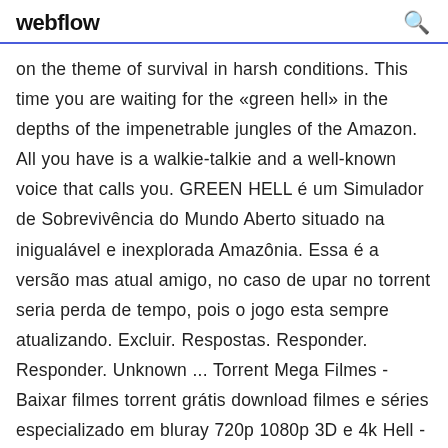webflow
on the theme of survival in harsh conditions. This time you are waiting for the «green hell» in the depths of the impenetrable jungles of the Amazon. All you have is a walkie-talkie and a well-known voice that calls you. GREEN HELL é um Simulador de Sobrevivência do Mundo Aberto situado na inigualável e inexplorada Amazônia. Essa é a versão mas atual amigo, no caso de upar no torrent seria perda de tempo, pois o jogo esta sempre atualizando. Excluir. Respostas. Responder. Responder. Unknown ... Torrent Mega Filmes - Baixar filmes torrent grátis download filmes e séries especializado em bluray 720p 1080p 3D e 4k Hell - À Ira Está Solta